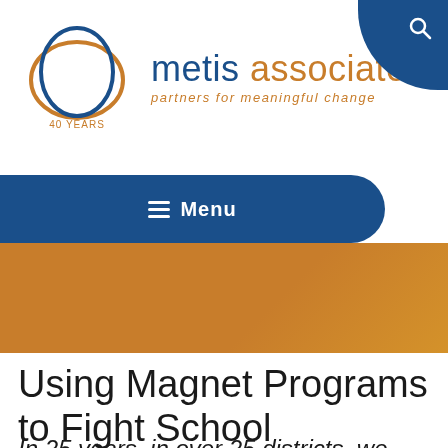[Figure (logo): Metis Associates logo: two overlapping ellipses (blue and orange) with '40 YEARS' text below, alongside brand name 'metis associates' and tagline 'partners for meaningful change']
≡ Menu
Using Magnet Programs to Fight School Desegregation
In 25 years, in over 25 districts, we